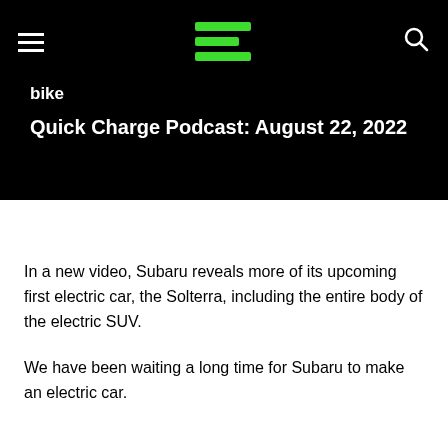bike
Quick Charge Podcast: August 22, 2022
In a new video, Subaru reveals more of its upcoming first electric car, the Solterra, including the entire body of the electric SUV.
We have been waiting a long time for Subaru to make an electric car.